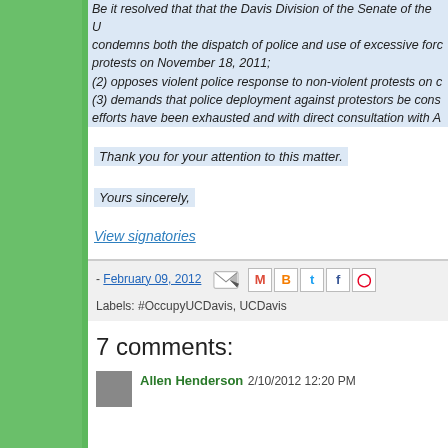Be it resolved that that the Davis Division of the Senate of the U condemns both the dispatch of police and use of excessive force protests on November 18, 2011; (2) opposes violent police response to non-violent protests on c (3) demands that police deployment against protestors be cons efforts have been exhausted and with direct consultation with A
Thank you for your attention to this matter.
Yours sincerely,
View signatories
- February 09, 2012
Labels: #OccupyUCDavis, UCDavis
7 comments:
Allen Henderson 2/10/2012 12:20 PM